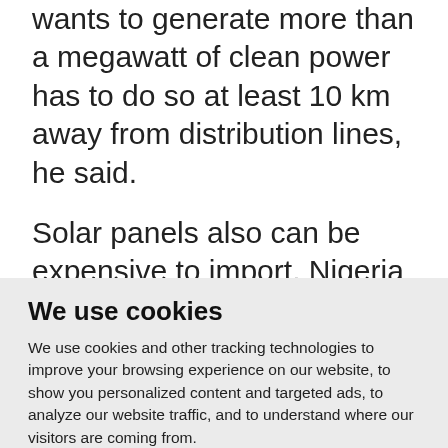wants to generate more than a megawatt of clean power has to do so at least 10 km away from distribution lines, he said.
Solar panels also can be expensive to import. Nigeria has no customs duty on renewable energy devices but the Economic Community of West African States (ECOWAS), of which it is a member
We use cookies
We use cookies and other tracking technologies to improve your browsing experience on our website, to show you personalized content and targeted ads, to analyze our website traffic, and to understand where our visitors are coming from.